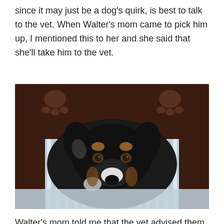since it may just be a dog's quirk, is best to talk to the vet. When Walter's mom came to pick him up, I mentioned this to her and she said that she'll take him to the vet.
[Figure (photo): A black, white, and tan dog (appears to be an Australian Shepherd mix) lying on striped blue and white bedding, partially wrapped in a dark brown blanket with paw print pattern. The dog is looking directly at the camera with soulful brown eyes.]
Walter's mom told me that the vet advised them to watch him since he is only a little over 2 years old. Two months